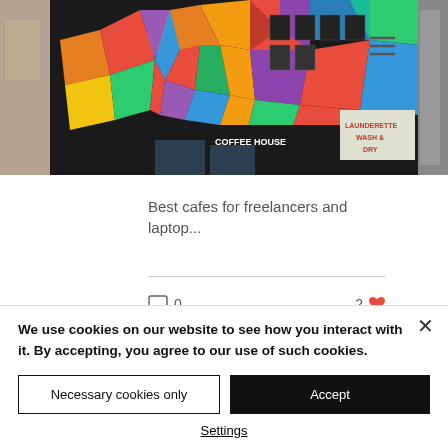[Figure (photo): Colorful geometric mural on a cafe/coffee house building exterior with bright triangular patches in red, yellow, blue, orange, green on dark background. Sign reads 'COFFEE HOUSE' and 'LAUNDERETTE WASH & DRY'. Partial images on left and right edges.]
Best cafes for freelancers and laptop...
0   2
We use cookies on our website to see how you interact with it. By accepting, you agree to our use of such cookies.
Necessary cookies only
Accept
Settings